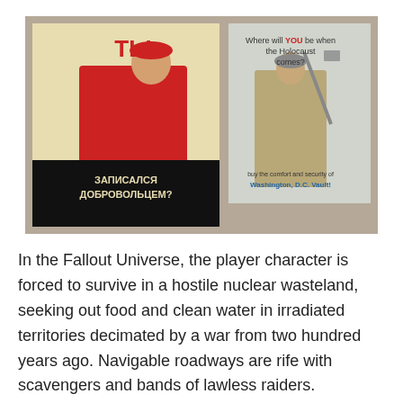[Figure (illustration): Two propaganda-style posters side by side on a tan/brown background. Left poster: Soviet-style poster with a figure in red pointing forward, Cyrillic text 'ТЫ' at top and 'ЗАПИСАЛСЯ ДОБРОВОЛЬЦЕМ?' at bottom. Right poster: English-language parody poster with a soldier holding a shovel, text 'Where will YOU be when the Holocaust comes?' and 'Washington, D.C. Vault!' at bottom.]
In the Fallout Universe, the player character is forced to survive in a hostile nuclear wasteland, seeking out food and clean water in irradiated territories decimated by a war from two hundred years ago. Navigable roadways are rife with scavengers and bands of lawless raiders.